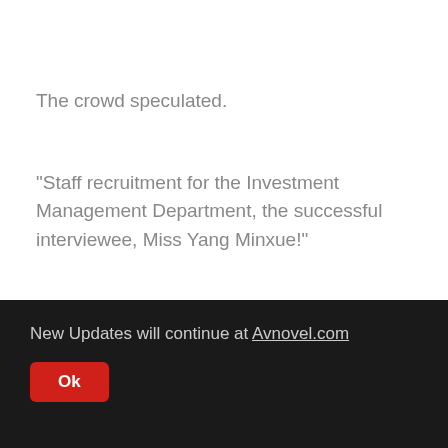The crowd speculated.
"Staff recruitment for the Investment Management Department, the successful interviewee, Miss Yang Minxue!"
And Yang Minxue, naturally, was the chipper girl.
New Updates will continue at Avnovel.com